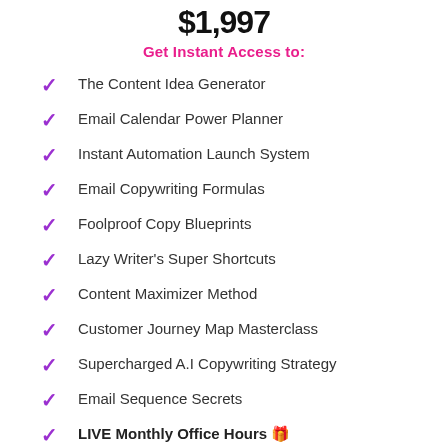$1,997
Get Instant Access to:
The Content Idea Generator
Email Calendar Power Planner
Instant Automation Launch System
Email Copywriting Formulas
Foolproof Copy Blueprints
Lazy Writer's Super Shortcuts
Content Maximizer Method
Customer Journey Map Masterclass
Supercharged A.I Copywriting Strategy
Email Sequence Secrets
LIVE Monthly Office Hours 🎁